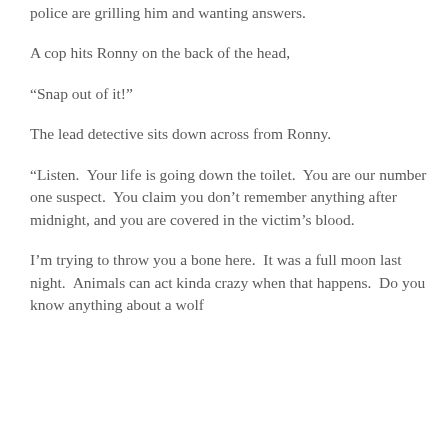police are grilling him and wanting answers.
A cop hits Ronny on the back of the head,
“Snap out of it!”
The lead detective sits down across from Ronny.
“Listen.  Your life is going down the toilet.  You are our number one suspect.  You claim you don’t remember anything after midnight, and you are covered in the victim’s blood.
I’m trying to throw you a bone here.  It was a full moon last night.  Animals can act kinda crazy when that happens.  Do you know anything about a wolf